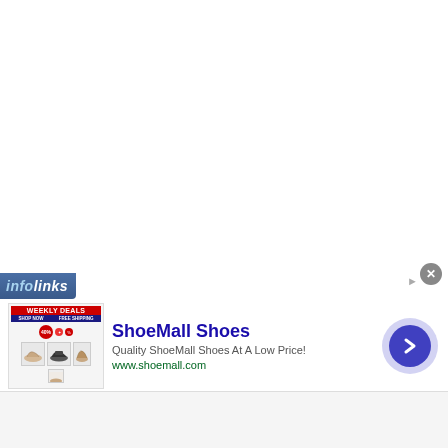[Figure (screenshot): Infolinks advertisement banner for ShoeMall Shoes. Contains infolinks logo/header bar, an ad with weekly deals shoe imagery on left, ShoeMall Shoes brand name, tagline 'Quality ShoeMall Shoes At A Low Price!', URL 'www.shoemall.com', a navigation arrow circle on right, a close (X) button, and an AdChoices icon.]